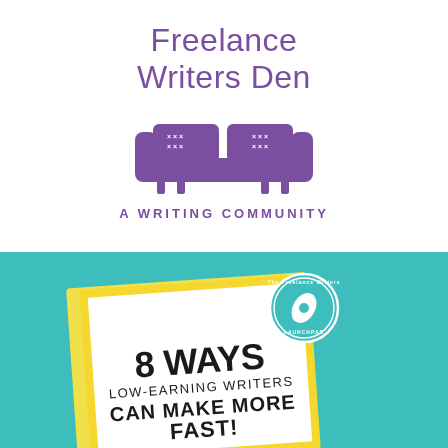[Figure (logo): Freelance Writers Den logo with purple couch icon and text 'Freelance Writers Den - A Writing Community']
[Figure (illustration): Teal background section showing a tilted book/card with yellow border reading '8 WAYS LOW-EARNING WRITERS CAN MAKE MORE FAST!' with a Freelance Writers Launchpad badge]